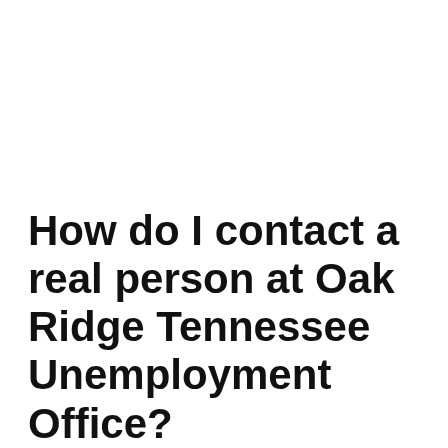How do I contact a real person at Oak Ridge Tennessee Unemployment Office?